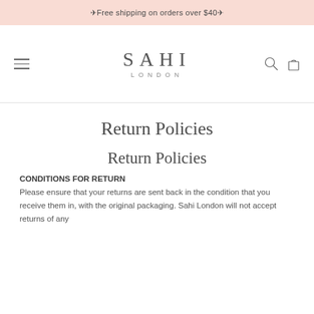✈Free shipping on orders over $40✈
[Figure (logo): Sahi London logo with hamburger menu on left and search/cart icons on right]
Return Policies
Return Policies
CONDITIONS FOR RETURN
Please ensure that your returns are sent back in the condition that you receive them in, with the original packaging. Sahi London will not accept returns of any